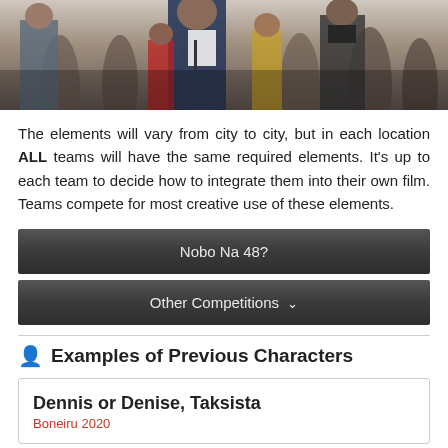[Figure (photo): Crowd scene with people at an outdoor event, including a person at a microphone in the foreground and photographers/audience in the background]
The elements will vary from city to city, but in each location ALL teams will have the same required elements. It's up to each team to decide how to integrate them into their own film. Teams compete for most creative use of these elements.
Nobo Na 48?
Other Competitions
Examples of Previous Characters
Dennis or Denise, Taksista
Boneiru 2020